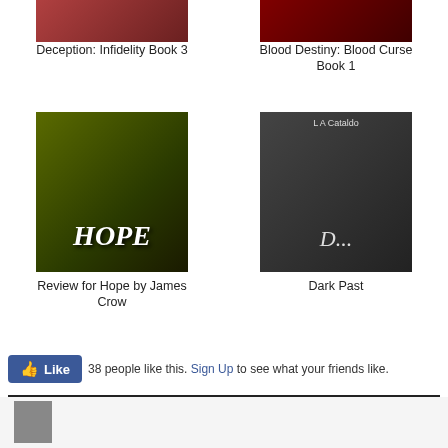[Figure (photo): Book cover for Deception: Infidelity Book 3, partially cropped at top]
Deception: Infidelity Book 3
[Figure (photo): Book cover for Blood Destiny: Blood Curse Book 1, partially cropped at top]
Blood Destiny: Blood Curse Book 1
[Figure (photo): Book cover for Hope by James Crow, showing two figures with HOPE text]
Review for Hope by James Crow
[Figure (photo): Book cover for Dark Past by L A Cataldo, showing two people close together]
Dark Past
38 people like this. Sign Up to see what your friends like.
[Figure (photo): Partial book cover visible at bottom of page]